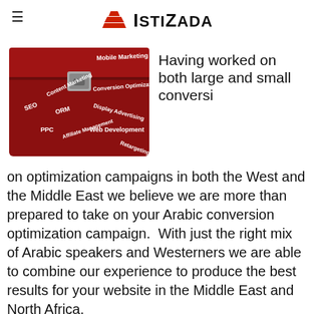IstiZada
[Figure (photo): Red metal toolbox with white text labels for digital marketing services: Mobile Marketing, Content Marketing, SEO, ORM, PPC, Affiliate Management, Conversion Optimization, Display Advertising, Web Development, Retargeting]
Having worked on both large and small conversion optimization campaigns in both the West and the Middle East we believe we are more than prepared to take on your Arabic conversion optimization campaign. With just the right mix of Arabic speakers and Westerners we are able to combine our experience to produce the best results for your website in the Middle East and North Africa.